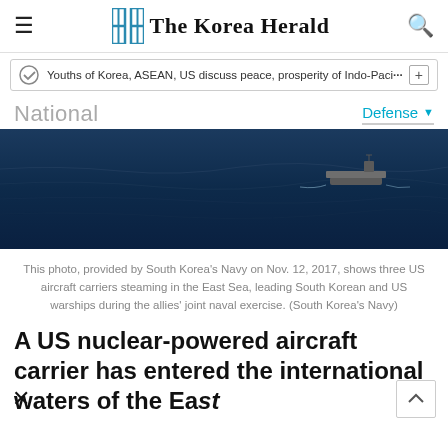The Korea Herald
Youths of Korea, ASEAN, US discuss peace, prosperity of Indo-Paci…
National
Defense
[Figure (photo): Aerial photo of US aircraft carrier on dark blue sea water]
This photo, provided by South Korea’s Navy on Nov. 12, 2017, shows three US aircraft carriers steaming in the East Sea, leading South Korean and US warships during the allies’ joint naval exercise. (South Korea’s Navy)
A US nuclear-powered aircraft carrier has entered the international waters of the East Sea for a naval exercise Tuesday,